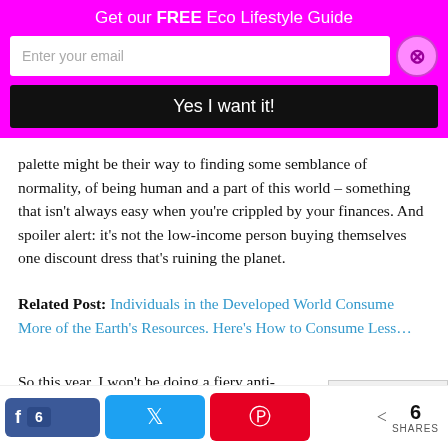Get our FREE Eco Lifestyle Guide
Enter your email
Yes I want it!
palette might be their way to finding some semblance of normality, of being human and a part of this world – something that isn't always easy when you're crippled by your finances. And spoiler alert: it's not the low-income person buying themselves one discount dress that's ruining the planet.
Related Post: Individuals in the Developed World Consume More of the Earth's Resources. Here's How to Consume Less…
So this year, I won't be doing a fiery anti-Black Friday post. I'll keep trying to live according to my morals, but at t
6 SHARES